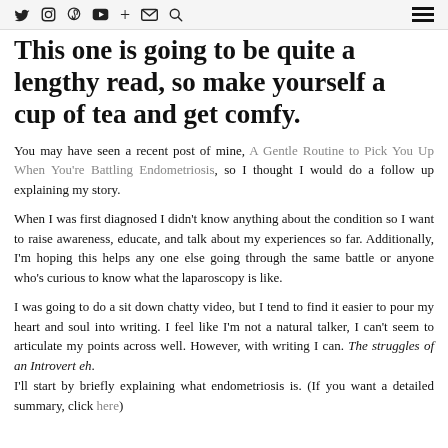Social media navigation icons and hamburger menu
This one is going to be quite a lengthy read, so make yourself a cup of tea and get comfy.
You may have seen a recent post of mine, A Gentle Routine to Pick You Up When You're Battling Endometriosis, so I thought I would do a follow up explaining my story.
When I was first diagnosed I didn't know anything about the condition so I want to raise awareness, educate, and talk about my experiences so far. Additionally, I'm hoping this helps any one else going through the same battle or anyone who's curious to know what the laparoscopy is like.
I was going to do a sit down chatty video, but I tend to find it easier to pour my heart and soul into writing. I feel like I'm not a natural talker, I can't seem to articulate my points across well. However, with writing I can. The struggles of an Introvert eh.
I'll start by briefly explaining what endometriosis is. (If you want a detailed summary, click here)